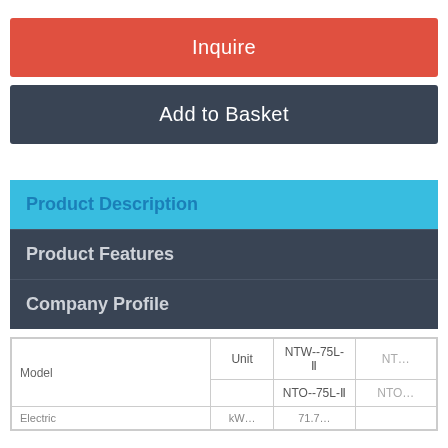Inquire
Add to Basket
Product Description
Product Features
Company Profile
| Model | Unit | NTW--75L-II | NT... |
| --- | --- | --- | --- |
|  |  | NTO--75L-II | NTO... |
| Electric |  | 71.7... |  |